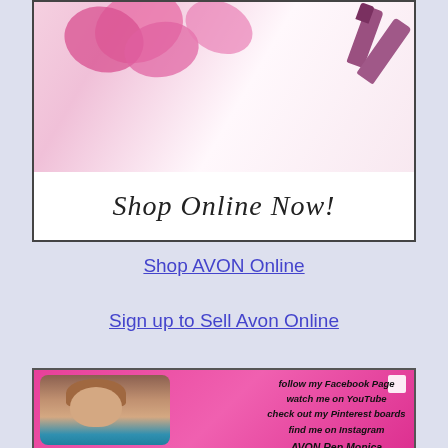[Figure (photo): Advertisement image showing pink flowers and nail polish with text 'Shop Online Now!' on white background with black border.]
Shop AVON Online
Sign up to Sell Avon Online
[Figure (photo): Social media promotional card with pink background showing a woman's photo on the left and text: 'follow my Facebook Page, watch me on YouTube, check out my Pinterest boards, find me on Instagram, AVON Rep Monica'. Bottom has AVON logo banner and a small illustrated female face icon.]